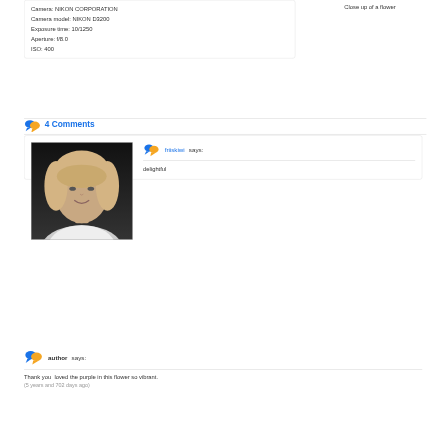Camera: NIKON CORPORATION
Camera model: NIKON D3200
Exposure time: 10/1250
Aperture: f/8.0
ISO: 400
Close up of a flower
4 Comments
[Figure (photo): Black and white portrait photo of a middle-aged woman with blonde hair, smiling]
friiskiwi says:
delightful
author says:
Thank you  loved the purple in this flower so vibrant.
(5 years and 702 days ago)